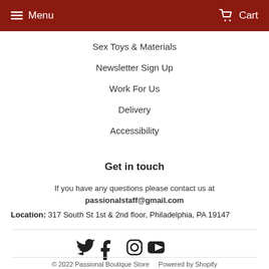Menu  Cart
Sex Toys & Materials
Newsletter Sign Up
Work For Us
Delivery
Accessibility
Get in touch
If you have any questions please contact us at passionalstaff@gmail.com
Location: 317 South St 1st & 2nd floor, Philadelphia, PA 19147
[Figure (other): Social media icons: Twitter, Facebook, Instagram, YouTube]
© 2022 Passional Boutique Store    Powered by Shopify